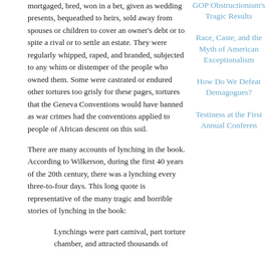mortgaged, bred, won in a bet, given as wedding presents, bequeathed to heirs, sold away from spouses or children to cover an owner's debt or to spite a rival or to settle an estate. They were regularly whipped, raped, and branded, subjected to any whim or distemper of the people who owned them. Some were castrated or endured other tortures too grisly for these pages, tortures that the Geneva Conventions would have banned as war crimes had the conventions applied to people of African descent on this soil.
There are many accounts of lynching in the book. According to Wilkerson, during the first 40 years of the 20th century, there was a lynching every three-to-four days. This long quote is representative of the many tragic and horrible stories of lynching in the book:
Lynchings were part carnival, part torture chamber, and attracted thousands of
GOP Obstructionism's Tragic Results
Race, Caste, and the Myth of American Exceptionalism
How Do We Defeat Demagogues?
Testiness at the First Annual Conferen